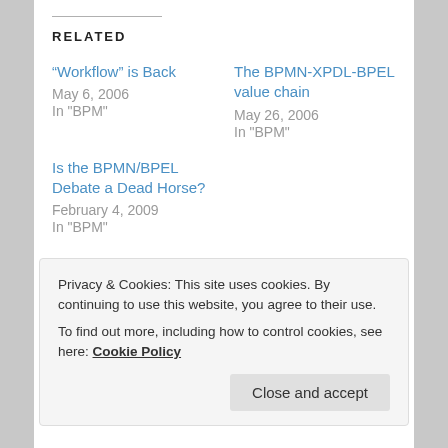RELATED
“Workflow” is Back
May 6, 2006
In "BPM"
The BPMN-XPDL-BPEL value chain
May 26, 2006
In "BPM"
Is the BPMN/BPEL Debate a Dead Horse?
February 4, 2009
In "BPM"
Privacy & Cookies: This site uses cookies. By continuing to use this website, you agree to their use.
To find out more, including how to control cookies, see here: Cookie Policy